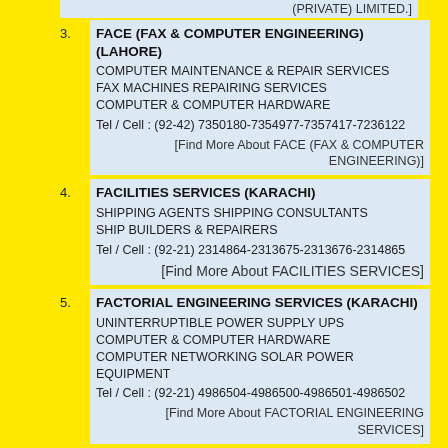(PRIVATE) LIMITED.]
3. FACE (FAX & COMPUTER ENGINEERING) (LAHORE)
COMPUTER MAINTENANCE & REPAIR SERVICES
FAX MACHINES REPAIRING SERVICES
COMPUTER & COMPUTER HARDWARE
Tel / Cell : (92-42) 7350180-7354977-7357417-7236122
[Find More About FACE (FAX & COMPUTER ENGINEERING)]
4. FACILITIES SERVICES (KARACHI)
SHIPPING AGENTS SHIPPING CONSULTANTS
SHIP BUILDERS & REPAIRERS
Tel / Cell : (92-21) 2314864-2313675-2313676-2314865
[Find More About FACILITIES SERVICES]
5. FACTORIAL ENGINEERING SERVICES (KARACHI)
UNINTERRUPTIBLE POWER SUPPLY UPS
COMPUTER & COMPUTER HARDWARE
COMPUTER NETWORKING SOLAR POWER EQUIPMENT
Tel / Cell : (92-21) 4986504-4986500-4986501-4986502
[Find More About FACTORIAL ENGINEERING SERVICES]
FAHAD INDUSTRIAL EQUIPMENT CO